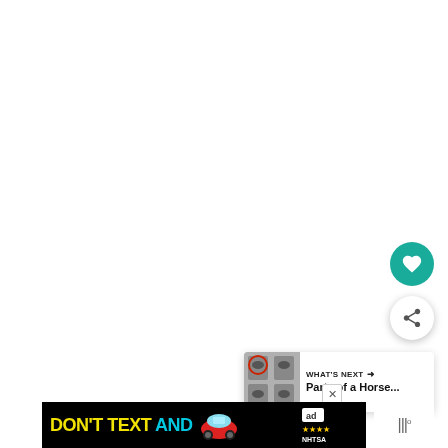[Figure (other): White blank space / content area of a web page]
[Figure (other): Teal circular heart/favorite floating action button]
[Figure (other): White circular share floating action button with share icon]
[Figure (other): What's Next card showing thumbnail of horse diagram with text 'WHAT'S NEXT → Parts of a Horse...']
[Figure (other): Advertisement banner: DON'T TEXT AND [car emoji] with ad badge and NHTSA logo on black background]
[Figure (other): Ad companion widget showing dots and degree symbol on white background]